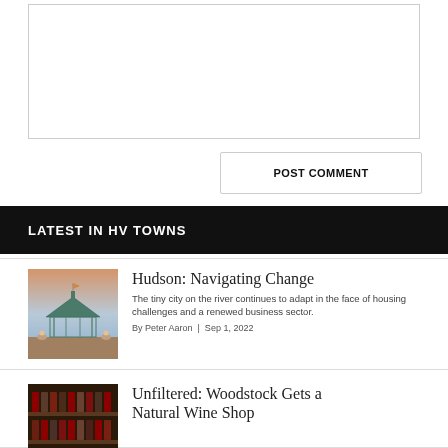[Figure (other): Empty comment text area input box]
POST COMMENT
LATEST IN HV TOWNS
[Figure (photo): Photo of a gazebo at dusk/sunset with people sitting nearby, beach or waterfront setting]
Hudson: Navigating Change
The tiny city on the river continues to adapt in the face of housing challenges and a renewed business sector.
By Peter Aaron | Sep 1, 2022
[Figure (photo): Photo of wine bottles on shelves in a wine shop]
Unfiltered: Woodstock Gets a Natural Wine Shop